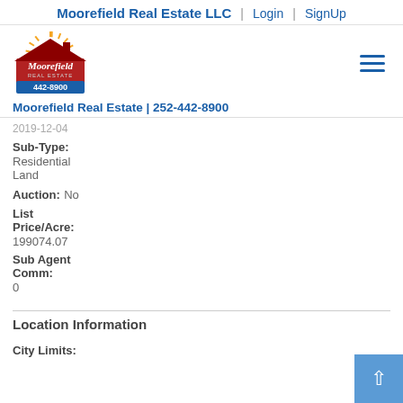Moorefield Real Estate LLC | Login | SignUp
[Figure (logo): Moorefield Real Estate logo with sunburst, red house, and phone number 442-8900]
Moorefield Real Estate | 252-442-8900
2019-12-04
Sub-Type: Residential Land
Auction: No
List Price/Acre: 199074.07
Sub Agent Comm: 0
Location Information
City Limits: